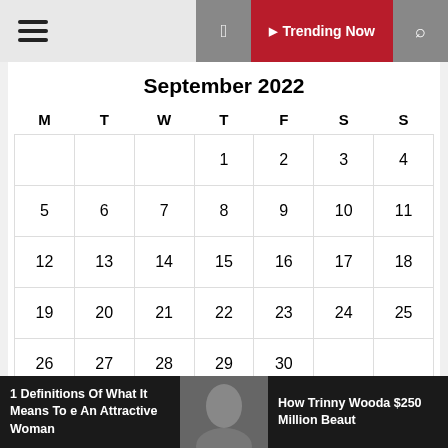Trending Now
September 2022
| M | T | W | T | F | S | S |
| --- | --- | --- | --- | --- | --- | --- |
|  |  |  | 1 | 2 | 3 | 4 |
| 5 | 6 | 7 | 8 | 9 | 10 | 11 |
| 12 | 13 | 14 | 15 | 16 | 17 | 18 |
| 19 | 20 | 21 | 22 | 23 | 24 | 25 |
| 26 | 27 | 28 | 29 | 30 |  |  |
« Aug
1 Definitions Of What It Means To e An Attractive Woman
How Trinny Wooda $250 Million Beaut